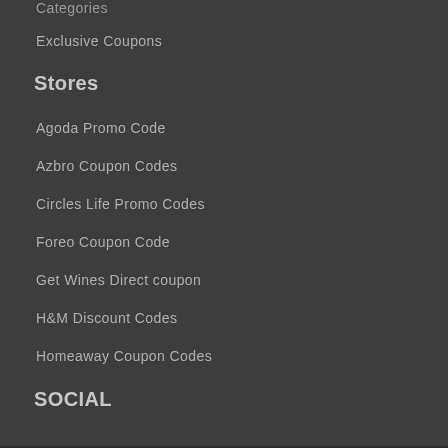Categories
Exclusive Coupons
Stores
Agoda Promo Code
Azbro Coupon Codes
Circles Life Promo Codes
Foreo Coupon Code
Get Wines Direct coupon
H&M Discount Codes
Homeaway Coupon Codes
SOCIAL
Facebook
Twitter
Instragram